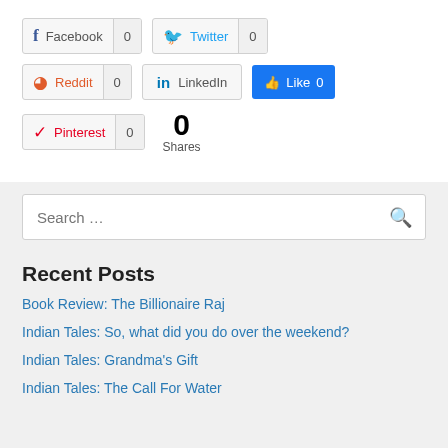[Figure (screenshot): Social share buttons row 1: Facebook (0) and Twitter (0)]
[Figure (screenshot): Social share buttons row 2: Reddit (0), LinkedIn, and Facebook Like (0)]
[Figure (screenshot): Social share buttons row 3: Pinterest (0) and total 0 Shares]
[Figure (screenshot): Search bar with placeholder 'Search ...' and magnifying glass icon]
Recent Posts
Book Review: The Billionaire Raj
Indian Tales: So, what did you do over the weekend?
Indian Tales: Grandma's Gift
Indian Tales: The Call For Water